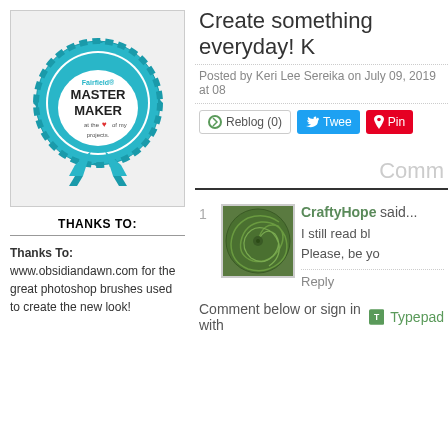[Figure (illustration): Fairfield Master Maker badge — teal circular seal with ribbon, text reads MASTER MAKER at the heart of my projects]
THANKS TO:
Thanks To:
www.obsidiandawn.com for the great photoshop brushes used to create the new look!
Create something everyday! K
Posted by Keri Lee Sereika on July 09, 2019 at 08
Reblog (0)  Tweet  Pin
Comm
1
[Figure (photo): Green circular swirl pattern avatar image for CraftyHope]
CraftyHope said...
I still read bl
Please, be yo
Reply
Comment below or sign in with Typepad